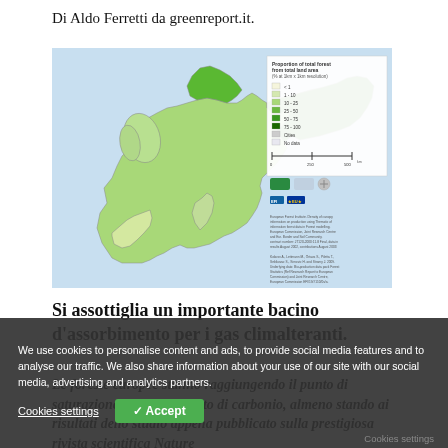Di Aldo Ferretti da greenreport.it.
[Figure (map): Map of Europe showing proportion of total forest from total land area (% at 1km x 1km resolution), with a green color gradient from light (low forest cover) to dark green (high forest cover, 75-100%). Legend shows categories: <1, 1-10, 10-25, 25-50, 50-75, 75-100, Cities, No data. Scale bar and logos visible. European Forest Institute attribution.]
Si assottiglia un importante bacino d’assorbimento per i gas climalteranti.
Le foreste europee stanno raggiungendo il punto di saturazione di assorbimento di carbonio, almeno stando ai risultati dello studio appena pubblicato sulla prestigiosa rivista scientifica Nature
We use cookies to personalise content and ads, to provide social media features and to analyse our traffic. We also share information about your use of our site with our social media, advertising and analytics partners.